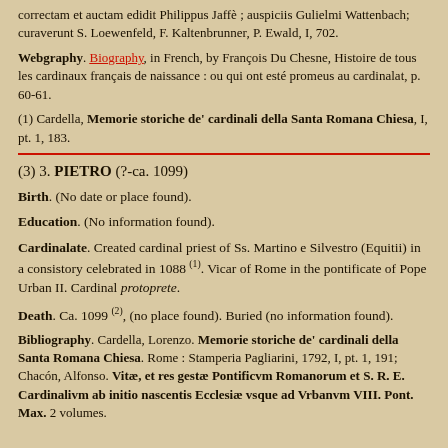correctam et auctam edidit Philippus Jaffè ; auspiciis Gulielmi Wattenbach; curaverunt S. Loewenfeld, F. Kaltenbrunner, P. Ewald, I, 702.
Webgraphy. Biography, in French, by François Du Chesne, Histoire de tous les cardinaux françois de naissance : ou qui ont esté promeus au cardinalat, p. 60-61.
(1) Cardella, Memorie storiche de' cardinali della Santa Romana Chiesa, I, pt. 1, 183.
(3) 3. PIETRO (?-ca. 1099)
Birth. (No date or place found).
Education. (No information found).
Cardinalate. Created cardinal priest of Ss. Martino e Silvestro (Equitii) in a consistory celebrated in 1088 (1). Vicar of Rome in the pontificate of Pope Urban II. Cardinal protoprete.
Death. Ca. 1099 (2), (no place found). Buried (no information found).
Bibliography. Cardella, Lorenzo. Memorie storiche de' cardinali della Santa Romana Chiesa. Rome : Stamperia Pagliarini, 1792, I, pt. 1, 191; Chacón, Alfonso. Vitæ, et res gestæ Pontificvm Romanorum et S. R. E. Cardinalivm ab initio nascentis Ecclesiæ vsque ad Vrbanvm VIII. Pont. Max. 2 volumes.